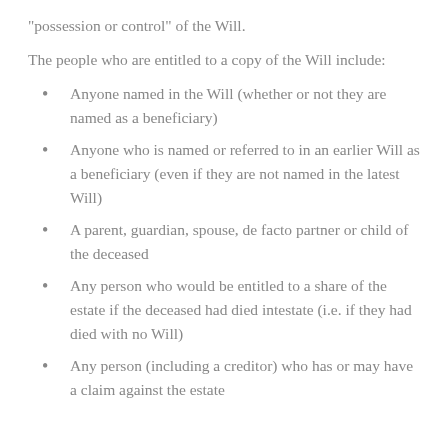“possession or control” of the Will.
The people who are entitled to a copy of the Will include:
Anyone named in the Will (whether or not they are named as a beneficiary)
Anyone who is named or referred to in an earlier Will as a beneficiary (even if they are not named in the latest Will)
A parent, guardian, spouse, de facto partner or child of the deceased
Any person who would be entitled to a share of the estate if the deceased had died intestate (i.e. if they had died with no Will)
Any person (including a creditor) who has or may have a claim against the estate